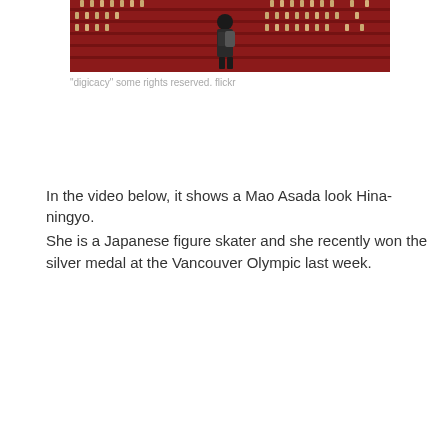[Figure (photo): A person standing in front of large tiered display of traditional Japanese Hina dolls, with red-draped shelves filling the background]
"digicacy" some rights reserved. flickr
In the video below, it shows a Mao Asada look Hina-ningyo.
She is a Japanese figure skater and she recently won the silver medal at the Vancouver Olympic last week.